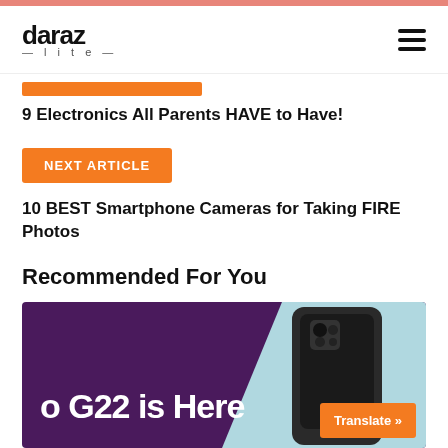[Figure (logo): Daraz Life logo with hamburger menu icon]
[Figure (other): Orange bar label for previous article]
9 Electronics All Parents HAVE to Have!
NEXT ARTICLE
10 BEST Smartphone Cameras for Taking FIRE Photos
Recommended For You
[Figure (photo): Promotional card showing smartphone (G22) with dark purple background and phone image, text 'o G22 is Here', and Translate button]